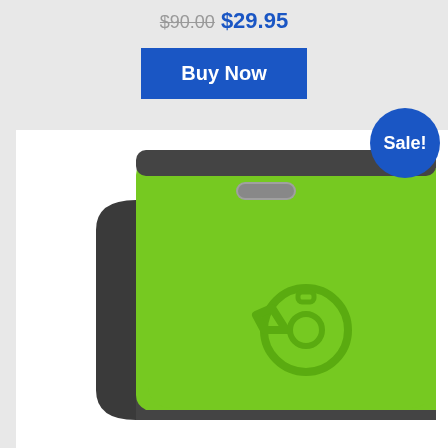$90.00 $29.95
Buy Now
[Figure (photo): Green and dark gray rectangular GPS tracker device with a whistle logo embossed on its green face and a small gray LED indicator slot near the top. The device has rounded corners and a dark charcoal gray border/edge.]
Sale!